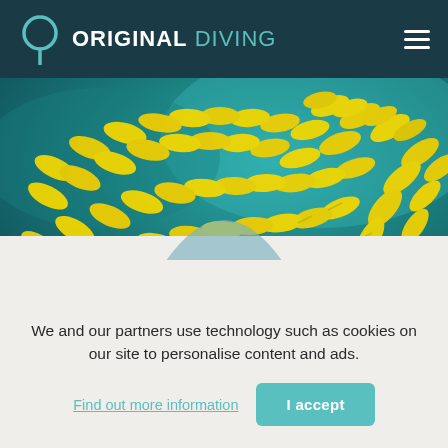ORIGINAL DIVING
[Figure (photo): Underwater photograph showing a dense school of yellow-striped fish swimming over a coral reef]
We and our partners use technology such as cookies on our site to personalise content and ads.
Find out more information
I accept